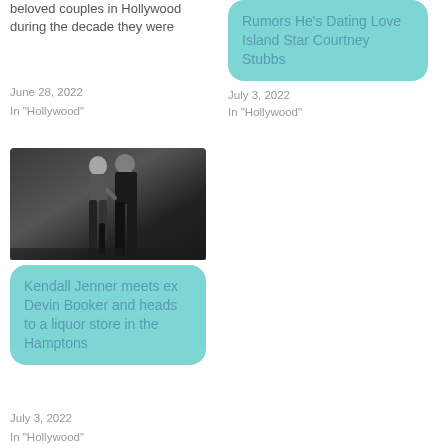beloved couples in Hollywood during the decade they were
June 28, 2022
In “Hollywood”
Rumors He’s Dating Love Island Star Courtney Stubbs
July 3, 2022
In “Hollywood”
[Figure (photo): Two people standing together, a woman in a dark dress and a man in a dark suit, partial view from waist down]
Kendall Jenner meets ex Devin Booker and heads to a liquor store in the Hamptons
July 3, 2022
In “Hollywood”